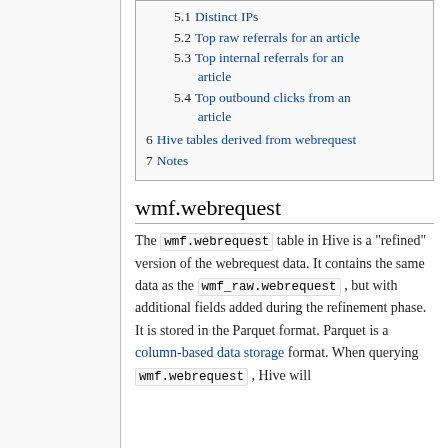5.1  Distinct IPs
5.2  Top raw referrals for an article
5.3  Top internal referrals for an article
5.4  Top outbound clicks from an article
6  Hive tables derived from webrequest
7  Notes
wmf.webrequest
The wmf.webrequest table in Hive is a "refined" version of the webrequest data. It contains the same data as the wmf_raw.webrequest , but with additional fields added during the refinement phase. It is stored in the Parquet format. Parquet is a column-based data storage format. When querying wmf.webrequest , Hive will